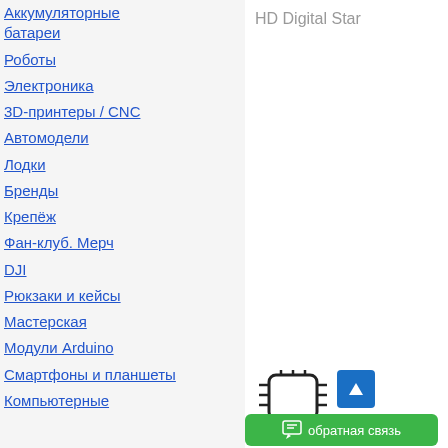HD Digital Star
Аккумуляторные батареи
Роботы
Электроника
3D-принтеры / CNC
Автомодели
Лодки
Бренды
Крепёж
Фан-клуб. Мерч
DJI
Рюкзаки и кейсы
Мастерская
Модули Arduino
Смартфоны и планшеты
Компьютерные
[Figure (other): Chip/processor icon]
1/1.8 Inch
Min.illumination: 0.00003Lux
обратная связь